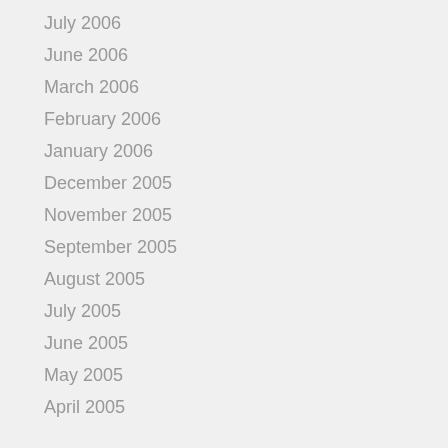July 2006
June 2006
March 2006
February 2006
January 2006
December 2005
November 2005
September 2005
August 2005
July 2005
June 2005
May 2005
April 2005